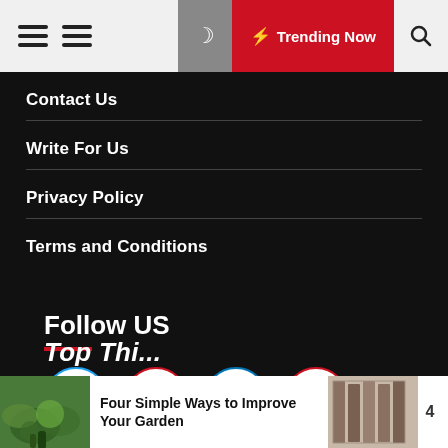Trending Now
Contact Us
Write For Us
Privacy Policy
Terms and Conditions
Follow US
[Figure (infographic): Social media icons: Twitter (blue circle), Instagram (red/pink circle), LinkedIn (blue circle), Pinterest (red circle)]
Top Thi...
Four Simple Ways to Improve Your Garden
4